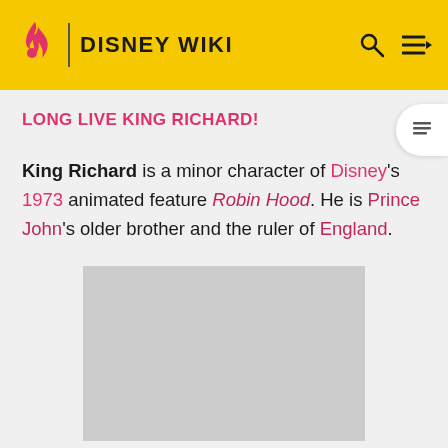DISNEY WIKI
LONG LIVE KING RICHARD!
King Richard is a minor character of Disney's 1973 animated feature Robin Hood. He is Prince John's older brother and the ruler of England.
[Figure (photo): Gray placeholder image for King Richard]